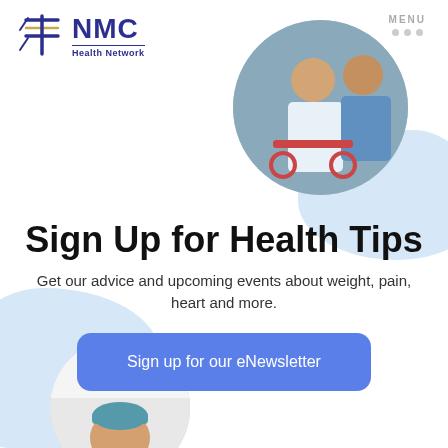[Figure (logo): NMC Health Network logo with stylized cross icon and text]
MENU
[Figure (photo): Circular cropped photo of a patient in a hospital gown seated in a wheelchair, with a healthcare worker in blue behind them]
Sign Up for Health Tips
Get our advice and upcoming events about weight, pain, heart and more.
[Figure (screenshot): Blue rounded button labeled 'Sign up for our eNewsletter']
[Figure (photo): Circular cropped photo of a medical professional wearing surgical cap, partially visible at bottom of page]